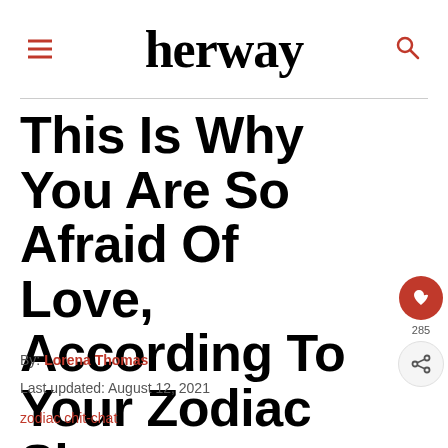herway
This Is Why You Are So Afraid Of Love, According To Your Zodiac Sign
By: Lorena Thomas
Last updated: August 12, 2021
zodiac chit-chat